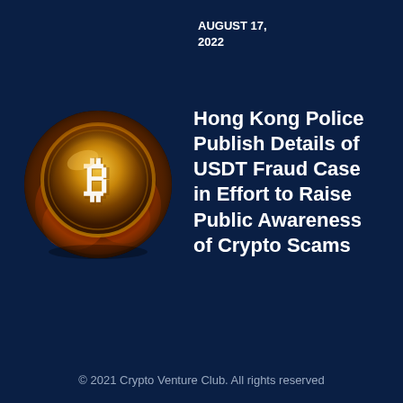AUGUST 17, 2022
[Figure (photo): Bitcoin gold coin with a flame-like background, showing the Bitcoin symbol]
Hong Kong Police Publish Details of USDT Fraud Case in Effort to Raise Public Awareness of Crypto Scams
AUGUST 15, 2022
© 2021 Crypto Venture Club. All rights reserved